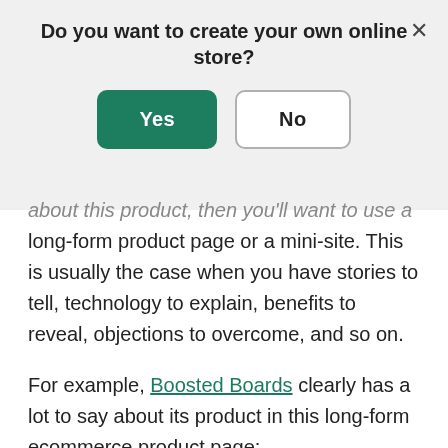Do you want to create your own online store?
[Figure (screenshot): Modal dialog with 'Yes' (green filled button) and 'No' (white outlined button) options, and an X close button in the top right corner.]
about this product, then you'll want to use a long-form product page or a mini-site. This is usually the case when you have stories to tell, technology to explain, benefits to reveal, objections to overcome, and so on.
For example, Boosted Boards clearly has a lot to say about its product in this long-form ecommerce product page: